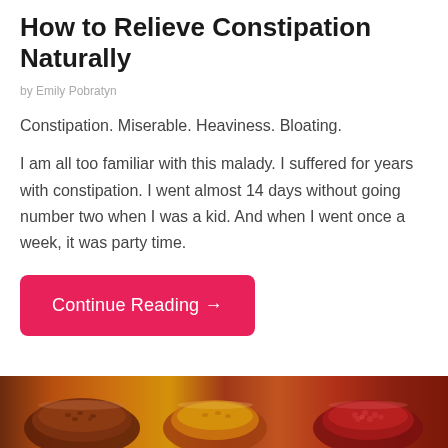How to Relieve Constipation Naturally
by Emily Pobratyn
Constipation. Miserable. Heaviness. Bloating.
I am all too familiar with this malady. I suffered for years with constipation. I went almost 14 days without going number two when I was a kid. And when I went once a week, it was party time.
[Figure (other): A button labeled 'Continue Reading →' with a pink/red rounded rectangle background]
[Figure (photo): Bottom strip showing various spices and grains in small bowls, photographed from above, warm earthy tones of red, orange, brown]